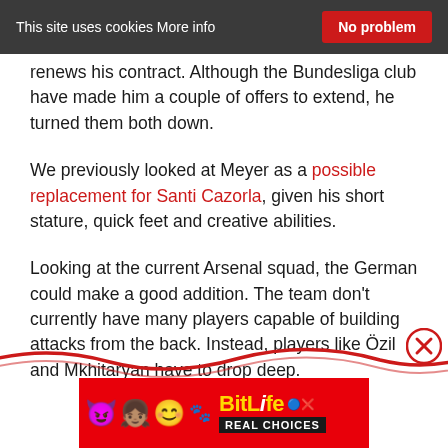This site uses cookies More info  No problem
renews his contract. Although the Bundesliga club have made him a couple of offers to extend, he turned them both down.
We previously looked at Meyer as a possible replacement for Santi Cazorla, given his short stature, quick feet and creative abilities.
Looking at the current Arsenal squad, the German could make a good addition. The team don't currently have many players capable of building attacks from the back. Instead, players like Özil and Mkhitaryan have to drop deep.
[Figure (advertisement): BitLife Real Choices app advertisement banner with colorful emojis on red background]